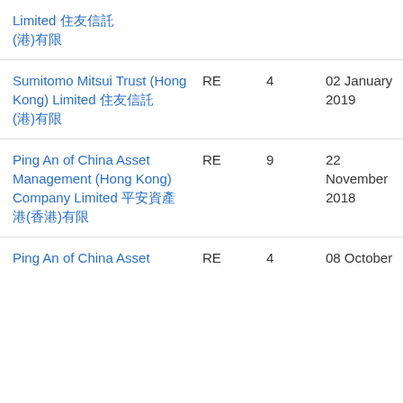| Name | Type | No. | Date From | Date To |
| --- | --- | --- | --- | --- |
| Limited [CJK chars] (HK)[CJK] | RE | 4 |  |  |
| Sumitomo Mitsui Trust (Hong Kong) Limited [CJK chars] (HK)[CJK] | RE | 4 | 02 January 2019 | 21 January 2019 |
| Ping An of China Asset Management (Hong Kong) Company Limited [CJK chars] [CJK](HK)[CJK] | RE | 9 | 22 November 2018 | 30 November 2018 |
| Ping An of China Asset ... | RE | 4 | 08 October ... | 30 Novemb... |